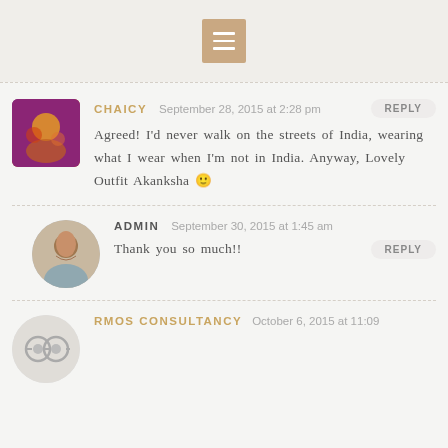Navigation menu icon
CHAICY  September 28, 2015 at 2:28 pm  REPLY
Agreed! I'd never walk on the streets of India, wearing what I wear when I'm not in India. Anyway, Lovely Outfit Akanksha 🙂
ADMIN  September 30, 2015 at 1:45 am  REPLY
Thank you so much!!
RMOS CONSULTANCY  October 6, 2015 at 11:09